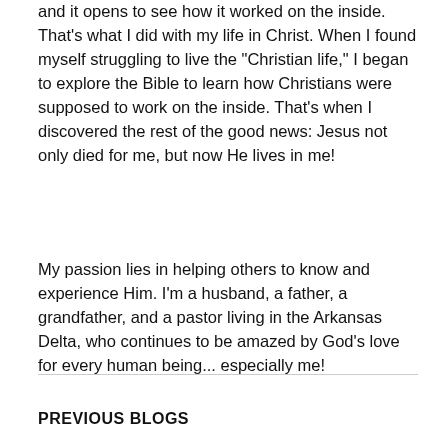and it opens to see how it worked on the inside. That's what I did with my life in Christ. When I found myself struggling to live the "Christian life," I began to explore the Bible to learn how Christians were supposed to work on the inside. That's when I discovered the rest of the good news: Jesus not only died for me, but now He lives in me!
My passion lies in helping others to know and experience Him. I'm a husband, a father, a grandfather, and a pastor living in the Arkansas Delta, who continues to be amazed by God's love for every human being... especially me!
PREVIOUS BLOGS